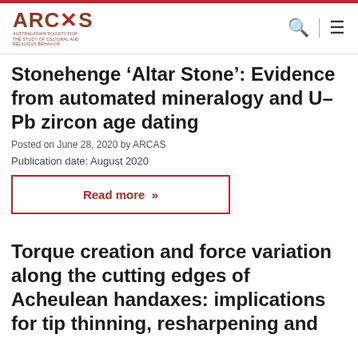ARCAS
Stonehenge ‘Altar Stone’: Evidence from automated mineralogy and U–Pb zircon age dating
Posted on June 28, 2020 by ARCAS
Publication date: August 2020
Read more »
Torque creation and force variation along the cutting edges of Acheulean handaxes: implications for tip thinning, resharpening and